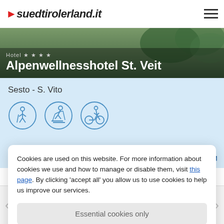suedtirolerland.it
Alpenwellnesshotel St. Veit
Sesto - S. Vito
[Figure (infographic): Three circular icons: hiking figure, skiing figure, cycling figure]
hotel-st-veit.com
Cookies are used on this website. For more information about cookies we use and how to manage or disable them, visit this page. By clicking 'accept all' you allow us to use cookies to help us improve our services.
Essential cookies only
Accept all
Hotel Hubertus
Floating in the Sky Pool in the heart of the Dolomites